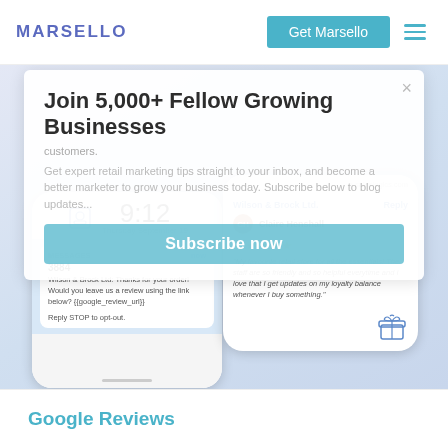MARSELLO
Join 5,000+ Fellow Growing Businesses
customers.
Get expert retail marketing tips straight to your inbox, and become a better marketer to grow your business today. Subscribe below to blog updates...
[Figure (screenshot): Mobile phone mockup showing SMS message from Wilson & Brock Ltd asking for a Google review, with time 9:12 and date Thursday September 19]
[Figure (screenshot): Mobile phone mockup showing email/app from Wilson & Brock Ltd with a 5-star review from Claire Henshall saying 'My favourite retail store for all the essentials! The staff are so friendly and so helpful everytime and I love that I get updates on my loyalty balance whenever I buy something.']
Subscribe now
Google Reviews